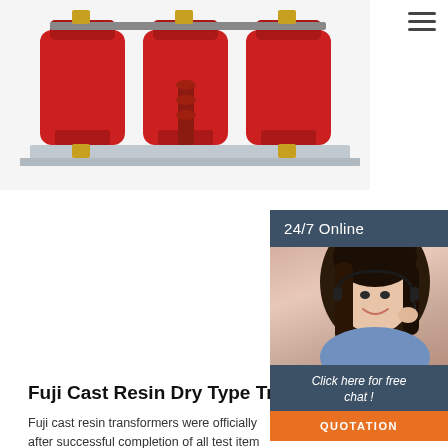[Figure (photo): Red Fuji Cast Resin Dry Type Transformer with three red cylindrical coils on a metal base, industrial electrical equipment]
[Figure (photo): 24/7 online chat widget with a woman wearing a headset, smiling, with 'Click here for free chat!' text and QUOTATION button]
Fuji Cast Resin Dry Type Transformer MOI
Fuji cast resin transformers were officially after successful completion of all test item IEC60076-11 This includes special test item test items by KEMA and CESI. Certificate o KEMA(Netherlands), CESI(Italy) Features Ja manufacturer to ...
[Figure (other): Orange 'Get Price' button]
[Figure (other): Orange and dark 'TOP' scroll-to-top button with dot triangle icon]